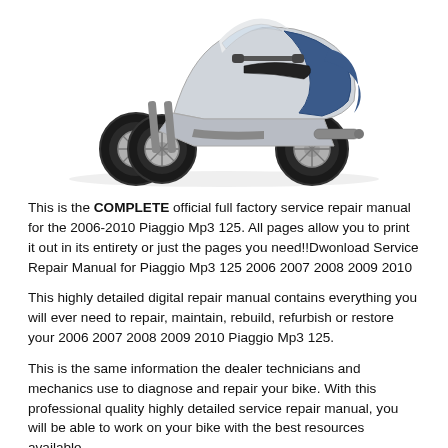[Figure (photo): Three-wheeled Piaggio Mp3 125 scooter viewed from a front-right angle, white/gray body with two front wheels, on a white background.]
This is the COMPLETE official full factory service repair manual for the 2006-2010 Piaggio Mp3 125. All pages allow you to print it out in its entirety or just the pages you need!!Dwonload Service Repair Manual for Piaggio Mp3 125 2006 2007 2008 2009 2010
This highly detailed digital repair manual contains everything you will ever need to repair, maintain, rebuild, refurbish or restore your 2006 2007 2008 2009 2010 Piaggio Mp3 125.
This is the same information the dealer technicians and mechanics use to diagnose and repair your bike. With this professional quality highly detailed service repair manual, you will be able to work on your bike with the best resources available,